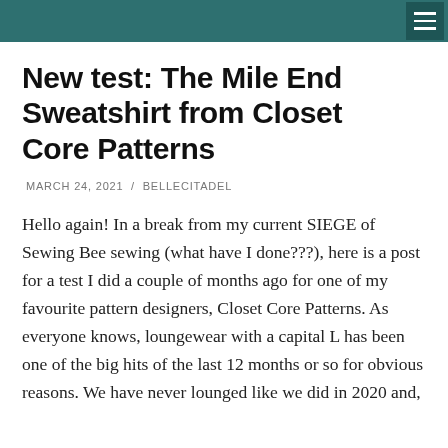New test: The Mile End Sweatshirt from Closet Core Patterns
MARCH 24, 2021  /  BELLECITADEL
Hello again! In a break from my current SIEGE of Sewing Bee sewing (what have I done???), here is a post for a test I did a couple of months ago for one of my favourite pattern designers, Closet Core Patterns. As everyone knows, loungewear with a capital L has been one of the big hits of the last 12 months or so for obvious reasons. We have never lounged like we did in 2020 and,